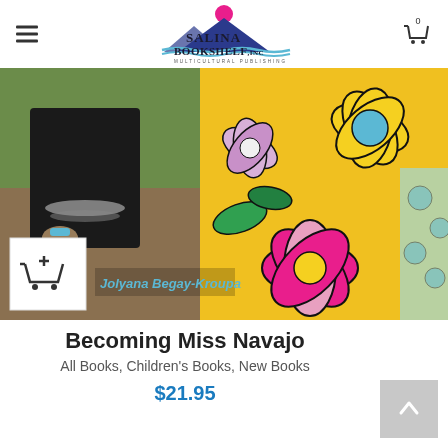[Figure (logo): Salina Bookshelf Inc Multicultural Publishing logo with mountain and sun graphic]
[Figure (photo): Book cover image for 'Becoming Miss Navajo' by Jolyana Begay-Kroupa showing colorful flowers and a person in traditional dress. Includes an add-to-cart icon and author name overlay.]
Becoming Miss Navajo
All Books, Children's Books, New Books
$21.95